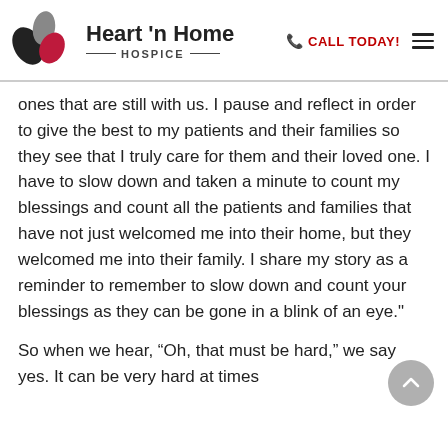Heart 'n Home HOSPICE | CALL TODAY!
ones that are still with us. I pause and reflect in order to give the best to my patients and their families so they see that I truly care for them and their loved one. I have to slow down and taken a minute to count my blessings and count all the patients and families that have not just welcomed me into their home, but they welcomed me into their family. I share my story as a reminder to remember to slow down and count your blessings as they can be gone in a blink of an eye."
So when we hear, “Oh, that must be hard,” we say yes. It can be very hard at times